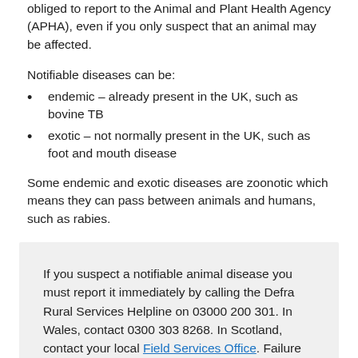obliged to report to the Animal and Plant Health Agency (APHA), even if you only suspect that an animal may be affected.
Notifiable diseases can be:
endemic – already present in the UK, such as bovine TB
exotic – not normally present in the UK, such as foot and mouth disease
Some endemic and exotic diseases are zoonotic which means they can pass between animals and humans, such as rabies.
If you suspect a notifiable animal disease you must report it immediately by calling the Defra Rural Services Helpline on 03000 200 301. In Wales, contact 0300 303 8268. In Scotland, contact your local Field Services Office. Failure to do so is an offence.